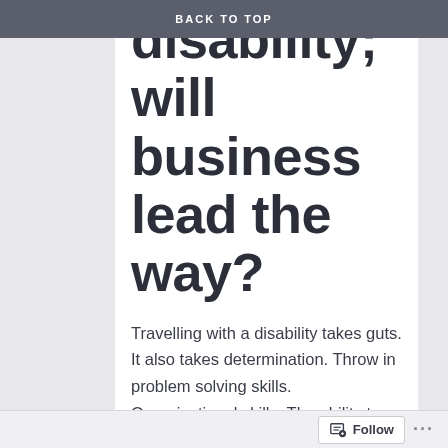BACK TO TOP
disability; will business lead the way?
Travelling with a disability takes guts.  It also takes determination.  Throw in problem solving skills.  Organisational skills.  The ability to speak out and up for yourself.  Add a fair pinch of faith too.  It's no wonder disabled people develop such strengths in these areas!  You plan each trip with military precision.  You become an expert on companies to avoid and those that you
Follow ...